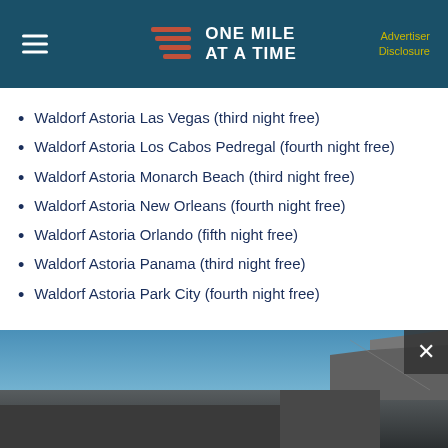ONE MILE AT A TIME | Advertiser Disclosure
Waldorf Astoria Las Vegas (third night free)
Waldorf Astoria Los Cabos Pedregal (fourth night free)
Waldorf Astoria Monarch Beach (third night free)
Waldorf Astoria New Orleans (fourth night free)
Waldorf Astoria Orlando (fifth night free)
Waldorf Astoria Panama (third night free)
Waldorf Astoria Park City (fourth night free)
[Figure (photo): Exterior photo of a Waldorf Astoria property with blue sky and rooftops visible]